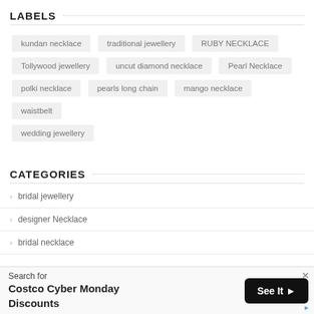LABELS
kundan necklace
traditional jewellery
RUBY NECKLACE
Tollywood jewellery
uncut diamond necklace
Pearl Necklace
polki necklace
pearls long chain
mango necklace
waistbelt
wedding jewellery
CATEGORIES
bridal jewellery
designer Necklace
bridal necklace
Search for Costco Cyber Monday Discounts — See It >